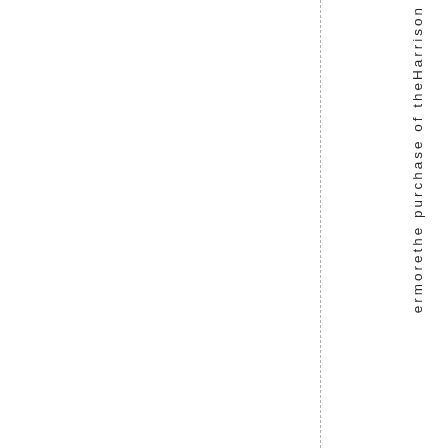ermorethe purchase of theHarrison